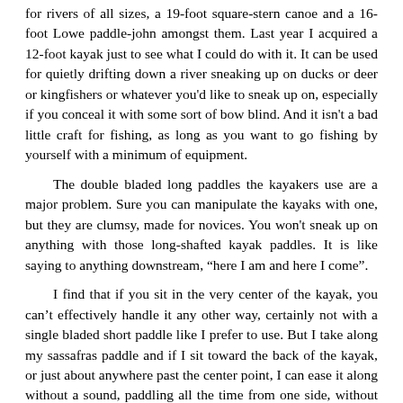for rivers of all sizes, a 19-foot square-stern canoe and a 16-foot Lowe paddle-john amongst them. Last year I acquired a 12-foot kayak just to see what I could do with it. It can be used for quietly drifting down a river sneaking up on ducks or deer or kingfishers or whatever you'd like to sneak up on, especially if you conceal it with some sort of bow blind. And it isn't a bad little craft for fishing, as long as you want to go fishing by yourself with a minimum of equipment.
The double bladed long paddles the kayakers use are a major problem. Sure you can manipulate the kayaks with one, but they are clumsy, made for novices. You won't sneak up on anything with those long-shafted kayak paddles. It is like saying to anything downstream, "here I am and here I come".
I find that if you sit in the very center of the kayak, you can't effectively handle it any other way, certainly not with a single bladed short paddle like I prefer to use. But I take along my sassafras paddle and if I sit toward the back of the kayak, or just about anywhere past the center point, I can ease it along without a sound, paddling all the time from one side, without taking the paddle out of the water. To do that, I have to put some weight in